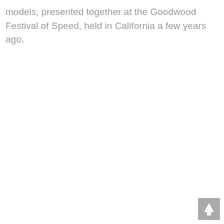models, presented together at the Goodwood Festival of Speed, held in California a few years ago.
[Figure (other): Back to top button arrow icon in bottom right corner]